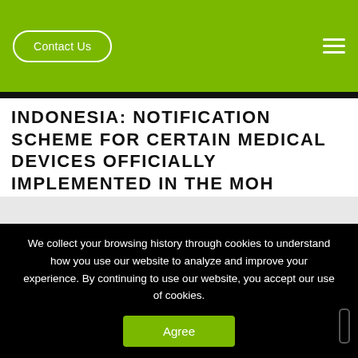Contact Us
INDONESIA: NOTIFICATION SCHEME FOR CERTAIN MEDICAL DEVICES OFFICIALLY IMPLEMENTED IN THE MOH SYSTEM – FEBRUARY 2022
2022-02-18 08:22:55
We collect your browsing history through cookies to understand how you use our website to analyze and improve your experience. By continuing to use our website, you accept our use of cookies.